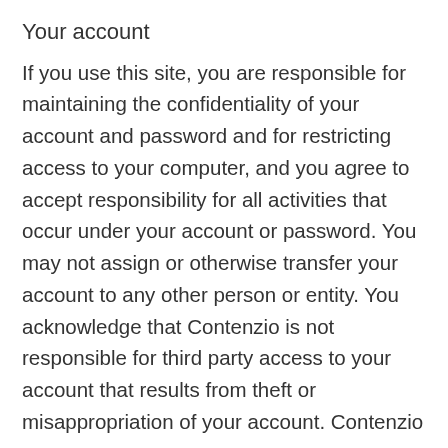Your account
If you use this site, you are responsible for maintaining the confidentiality of your account and password and for restricting access to your computer, and you agree to accept responsibility for all activities that occur under your account or password. You may not assign or otherwise transfer your account to any other person or entity. You acknowledge that Contenzio is not responsible for third party access to your account that results from theft or misappropriation of your account. Contenzio